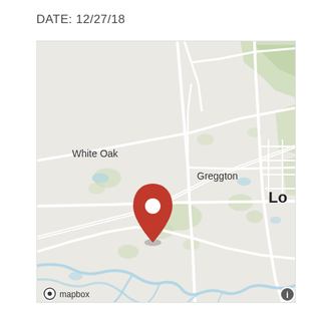DATE: 12/27/18
[Figure (map): A Mapbox map showing the area around Greggton and White Oak near Longview, Texas. A red location pin marker is placed in the area between White Oak and Greggton, slightly southwest of Greggton. Roads, water features (rivers/streams shown in blue), and green areas are visible. The Mapbox logo and an info button appear at the bottom of the map.]